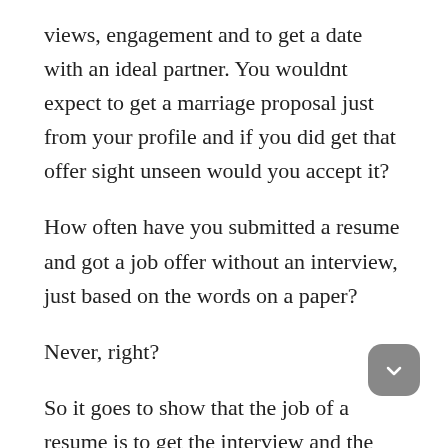views, engagement and to get a date with an ideal partner. You wouldnt expect to get a marriage proposal just from your profile and if you did get that offer sight unseen would you accept it?
How often have you submitted a resume and got a job offer without an interview, just based on the words on a paper?
Never, right?
So it goes to show that the job of a resume is to get the interview and the outcome of the interview is to get a job offer! One leads to